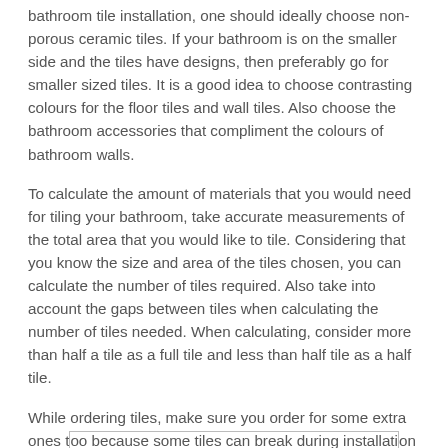bathroom tile installation, one should ideally choose non-porous ceramic tiles. If your bathroom is on the smaller side and the tiles have designs, then preferably go for smaller sized tiles. It is a good idea to choose contrasting colours for the floor tiles and wall tiles. Also choose the bathroom accessories that compliment the colours of bathroom walls.
To calculate the amount of materials that you would need for tiling your bathroom, take accurate measurements of the total area that you would like to tile. Considering that you know the size and area of the tiles chosen, you can calculate the number of tiles required. Also take into account the gaps between tiles when calculating the number of tiles needed. When calculating, consider more than half a tile as a full tile and less than half tile as a half tile.
While ordering tiles, make sure you order for some extra ones too because some tiles can break during installation while some may need replacement. You may need special